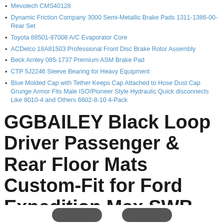Mevotech CMS40128
Dynamic Friction Company 3000 Semi-Metallic Brake Pads 1311-1386-00-Rear Set
Toyota 88501-87008 A/C Evaporator Core
ACDelco 18A81503 Professional Front Disc Brake Rotor Assembly
Beck Arnley 085-1737 Premium ASM Brake Pad
CTP 5J2246 Sleeve Bearing for Heavy Equipment
Blue Molded Cap with Tether Keeps Cap Attached to Hose Dust Cap Grunge Armor Fits Male ISO/Pioneer Style Hydraulic Quick disconnects Like 8010-4 and Others 6602-8-10 4-Pack
GGBAILEY Black Loop Driver Passenger & Rear Floor Mats Custom-Fit for Ford Expedition Max SWB 2018-2018